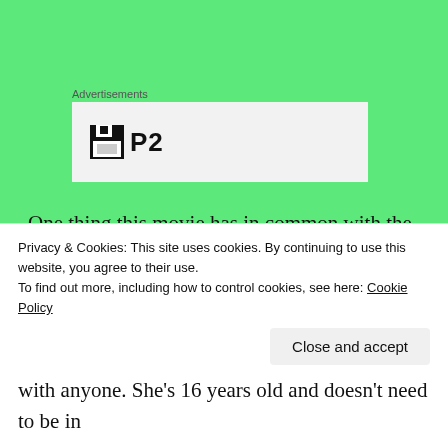Advertisements
[Figure (logo): Advertisement box with a floppy disk icon and text 'P2']
One thing this movie has in common with the best of Shakespeare is that the movie has a strong supporting cast. The female characters are especially memorable. Shuri is by far everyone’s favorite, being the sassy genius younger sister. In the first part of the film, she is the Q to
Privacy & Cookies: This site uses cookies. By continuing to use this website, you agree to their use.
To find out more, including how to control cookies, see here: Cookie Policy
with anyone. She’s 16 years old and doesn’t need to be in